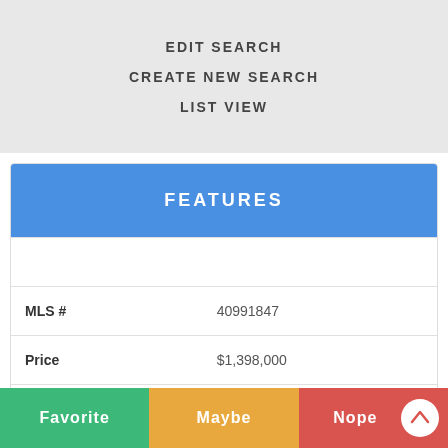EDIT SEARCH
CREATE NEW SEARCH
LIST VIEW
FEATURES
|  |  |
| --- | --- |
| MLS # | 40991847 |
| Price | $1,398,000 |
| Bedrooms | 4 |
| Baths | 2 Full Baths |
Favorite
Maybe
Nope